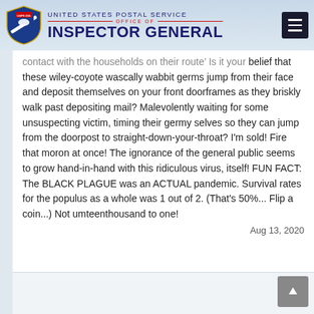UNITED STATES POSTAL SERVICE OFFICE OF INSPECTOR GENERAL
contact with the households on their route’ Is it your belief that these wiley-coyote wascally wabbit germs jump from their face and deposit themselves on your front doorframes as they briskly walk past depositing mail? Malevolently waiting for some unsuspecting victim, timing their germy selves so they can jump from the doorpost to straight-down-your-throat? I'm sold! Fire that moron at once! The ignorance of the general public seems to grow hand-in-hand with this ridiculous virus, itself! FUN FACT: The BLACK PLAGUE was an ACTUAL pandemic. Survival rates for the populus as a whole was 1 out of 2. (That's 50%... Flip a coin...) Not umteenthousand to one!
Aug 13, 2020